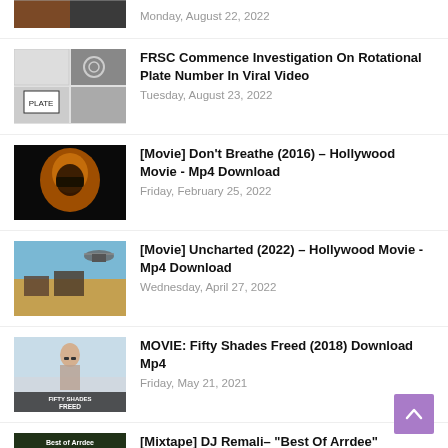[Figure (photo): Partially visible image at top of list]
Monday, August 22, 2022
[Figure (photo): Car license plate collage image]
FRSC Commence Investigation On Rotational Plate Number In Viral Video
Tuesday, August 23, 2022
[Figure (photo): Dark horror movie still - face with mask]
[Movie] Don't Breathe (2016) – Hollywood Movie - Mp4 Download
Friday, February 25, 2022
[Figure (photo): Uncharted movie action scene]
[Movie] Uncharted (2022) – Hollywood Movie - Mp4 Download
Wednesday, April 27, 2022
[Figure (photo): Fifty Shades Freed movie cover]
MOVIE: Fifty Shades Freed (2018) Download Mp4
Friday, May 21, 2021
[Figure (photo): Best of Arrdee mixtape cover]
[Mixtape] DJ Remali– "Best Of Arrdee"
Friday, July 15, 2022